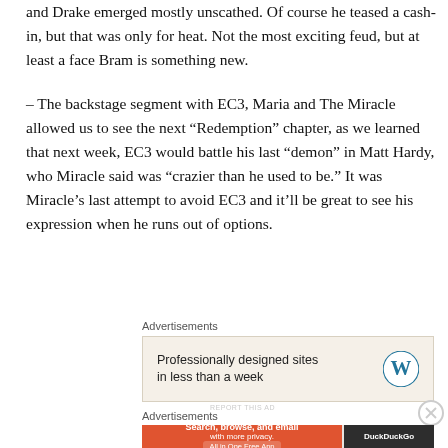and Drake emerged mostly unscathed. Of course he teased a cash-in, but that was only for heat. Not the most exciting feud, but at least a face Bram is something new.
– The backstage segment with EC3, Maria and The Miracle allowed us to see the next “Redemption” chapter, as we learned that next week, EC3 would battle his last “demon” in Matt Hardy, who Miracle said was “crazier than he used to be.” It was Miracle’s last attempt to avoid EC3 and it’ll be great to see his expression when he runs out of options.
Advertisements
[Figure (other): WordPress advertisement banner: 'Professionally designed sites in less than a week' with WordPress logo]
Advertisements
[Figure (other): DuckDuckGo advertisement banner: 'Search, browse, and email with more privacy. All in One Free App' with DuckDuckGo logo]